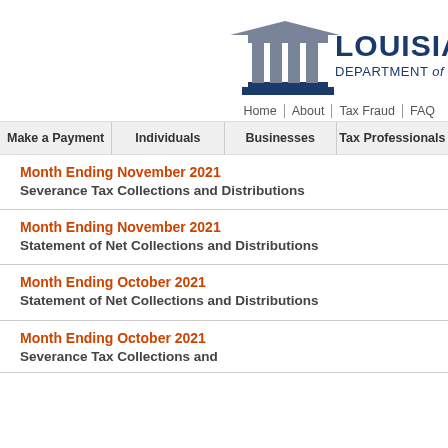[Figure (logo): Louisiana Department of Revenue logo with pillared building icon and text LOUISIANA DEPARTMENT OF REVENUE]
Home | About | Tax Fraud | FAQ
Make a Payment | Individuals | Businesses | Tax Professionals
Month Ending November 2021
Severance Tax Collections and Distributions
Month Ending November 2021
Statement of Net Collections and Distributions
Month Ending October 2021
Statement of Net Collections and Distributions
Month Ending October 2021
Severance Tax Collections and